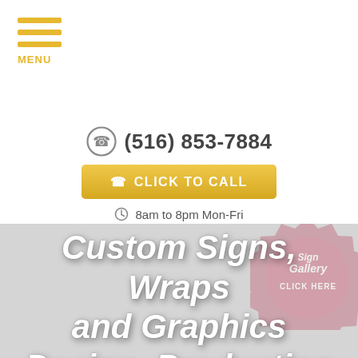[Figure (other): Hamburger menu icon with three horizontal yellow bars and the label MENU below]
(516) 853-7884
CLICK TO CALL
8am to 8pm Mon-Fri
Custom Signs, Wraps and Graphics Design, Production and Install
[Figure (logo): Pink/red circular badge stamp reading 'Sign Gallery CLICK HERE']